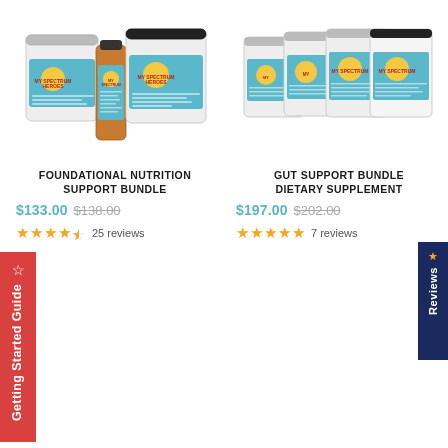[Figure (photo): Product photo of Foundational Nutrition Support Bundle showing two supplement jars and a bottle with blue My Spectrum Heroes labels]
FOUNDATIONAL NUTRITION SUPPORT BUNDLE
$133.00 $138.00
★★★★½ 25 reviews
[Figure (photo): Product photo of Gut Support Bundle Dietary Supplement showing four supplement jars with blue My Spectrum Heroes labels]
GUT SUPPORT BUNDLE DIETARY SUPPLEMENT
$197.00 $202.00
★★★★★ 7 reviews